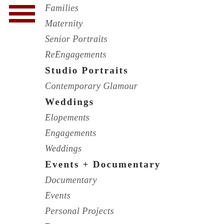[Figure (other): Three horizontal dark red/maroon lines forming a hamburger menu icon]
Families
Maternity
Senior Portraits
ReEngagements
Studio Portraits
Contemporary Glamour
Weddings
Elopements
Engagements
Weddings
Events + Documentary
Documentary
Events
Personal Projects
Resources
Commercial
Travel